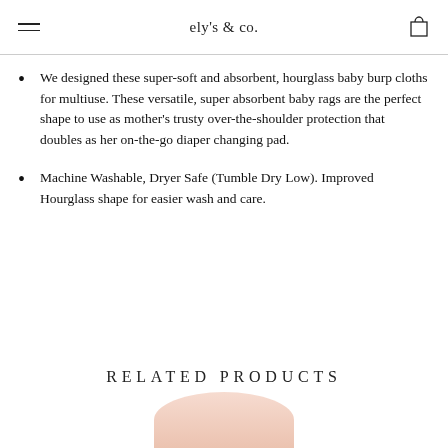ely's & co.
We designed these super-soft and absorbent, hourglass baby burp cloths for multiuse. These versatile, super absorbent baby rags are the perfect shape to use as mother's trusty over-the-shoulder protection that doubles as her on-the-go diaper changing pad.
Machine Washable, Dryer Safe (Tumble Dry Low). Improved Hourglass shape for easier wash and care.
RELATED PRODUCTS
[Figure (photo): Partial product image at bottom of page]